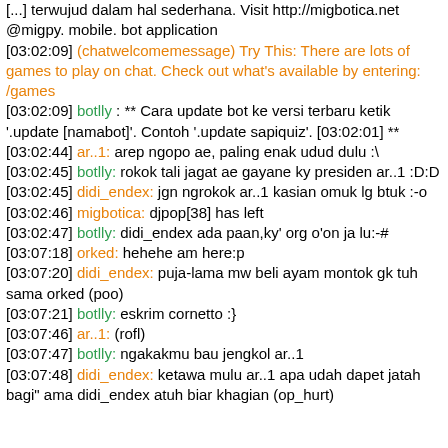[...] terwujud dalam hal sederhana. Visit http://migbotica.net @migpy. mobile. bot application
[03:02:09] (chatwelcomemessage) Try This: There are lots of games to play on chat. Check out what's available by entering: /games
[03:02:09] botlly : ** Cara update bot ke versi terbaru ketik '.update [namabot]'. Contoh '.update sapiquiz'. [03:02:01] **
[03:02:44] ar..1: arep ngopo ae, paling enak udud dulu :\
[03:02:45] botlly: rokok tali jagat ae gayane ky presiden ar..1 :D:D
[03:02:45] didi_endex: jgn ngrokok ar..1 kasian omuk lg btuk :-o
[03:02:46] migbotica: djpop[38] has left
[03:02:47] botlly: didi_endex ada paan,ky' org o'on ja lu:-#
[03:07:18] orked: hehehe am here:p
[03:07:20] didi_endex: puja-lama mw beli ayam montok gk tuh sama orked (poo)
[03:07:21] botlly: eskrim cornetto :}
[03:07:46] ar..1: (rofl)
[03:07:47] botlly: ngakakmu bau jengkol ar..1
[03:07:48] didi_endex: ketawa mulu ar..1 apa udah dapet jatah bagi" ama didi_endex atuh biar khagian (op_hurt)